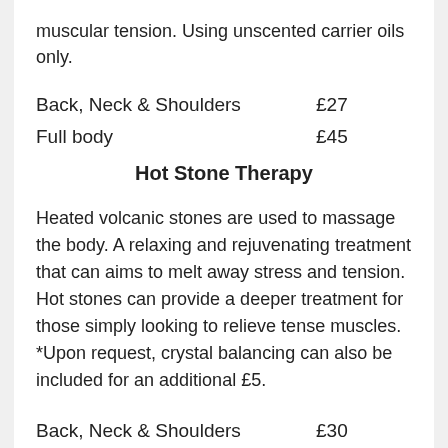muscular tension. Using unscented carrier oils only.
Back, Neck & Shoulders    £27
Full body    £45
Hot Stone Therapy
Heated volcanic stones are used to massage the body. A relaxing and rejuvenating treatment that can aims to melt away stress and tension. Hot stones can provide a deeper treatment for those simply looking to relieve tense muscles. *Upon request, crystal balancing can also be included for an additional £5.
Back, Neck & Shoulders    £30
Hot 45    *£38